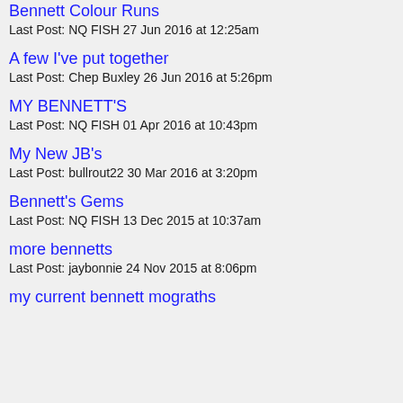Bennett Colour Runs
Last Post: NQ FISH 27 Jun 2016 at 12:25am
A few I've put together
Last Post: Chep Buxley 26 Jun 2016 at 5:26pm
MY BENNETT'S
Last Post: NQ FISH 01 Apr 2016 at 10:43pm
My New JB's
Last Post: bullrout22 30 Mar 2016 at 3:20pm
Bennett's Gems
Last Post: NQ FISH 13 Dec 2015 at 10:37am
more bennetts
Last Post: jaybonnie 24 Nov 2015 at 8:06pm
my current bennett mograths